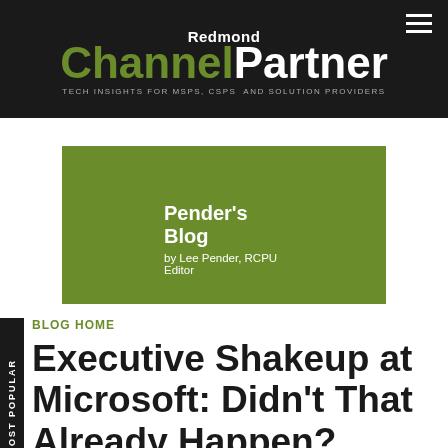Redmond Channel Partner — TECH INSIGHTS FOR MSPS, CSPS AND SOLUTION PROVIDERS
Pender's Blog
by Lee Pender, RCPU Editor
BLOG HOME
Executive Shakeup at Microsoft: Didn't That Already Happen?
If this is Steve Ballmer's version of spin, then Microsoft needs to put a merry-go-round on its